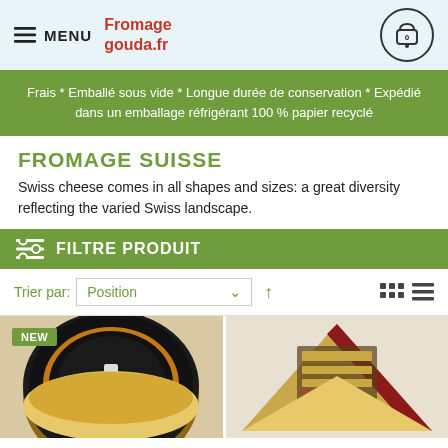≡ MENU  Fromage gouda.fr
Frais * Emballé sous vide * Longue durée de conservation * Expédié dans un emballage réfrigérant 100 % papier recyclé
FROMAGE SUISSE
Swiss cheese comes in all shapes and sizes: a great diversity reflecting the varied Swiss landscape.
FILTRE PRODUIT
Trier par: Position
[Figure (photo): Two cheese products shown at bottom of page: left is a round black-rinded Swiss cheese wheel with NEW badge; right is a triangular wedge of Swiss cheese with decorative wrapper.]